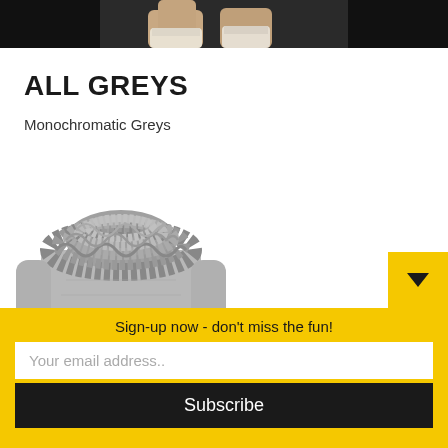[Figure (photo): Top portion of a fashion photo showing a person's legs in white lacy socks against a dark background]
ALL GREYS
Monochromatic Greys
[Figure (photo): Grayscale photo of a grey ruffled knit sweater/blouse with frilled collar detail]
Sign-up now - don't miss the fun!
Your email address..
Subscribe